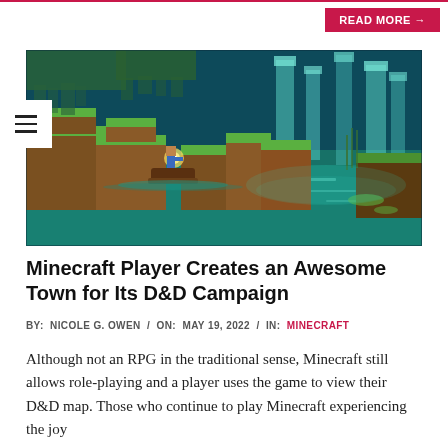READ MORE →
[Figure (illustration): Minecraft-style fantasy scene showing a player character holding a glowing light in a boat, surrounded by blocky terrain with glowing cyan water and tall green-topped pillars, lush overhanging vegetation, atmospheric teal/cyan lighting.]
Minecraft Player Creates an Awesome Town for Its D&D Campaign
BY:  NICOLE G. OWEN  /  ON:  MAY 19, 2022  /  IN:  MINECRAFT
Although not an RPG in the traditional sense, Minecraft still allows role-playing and a player uses the game to view their D&D map. Those who continue to play Minecraft experiencing the joy